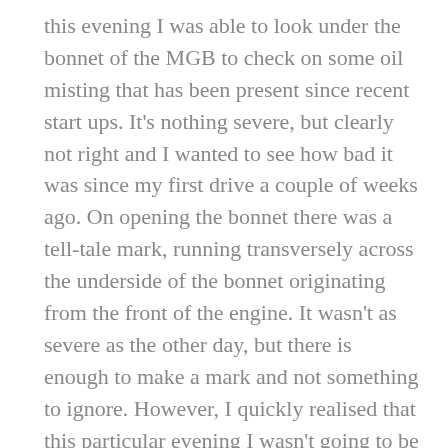this evening I was able to look under the bonnet of the MGB to check on some oil misting that has been present since recent start ups. It's nothing severe, but clearly not right and I wanted to see how bad it was since my first drive a couple of weeks ago. On opening the bonnet there was a tell-tale mark, running transversely across the underside of the bonnet originating from the front of the engine. It wasn't as severe as the other day, but there is enough to make a mark and not something to ignore. However, I quickly realised that this particular evening I wasn't going to be able to get under the car to see where the oil was coming from, having checked all possible locations accessible from above where it might be coming from. The pattern of the misting point towards it being linked to the main pulley which as it goes round and round is I think throwing up the leaked oil.